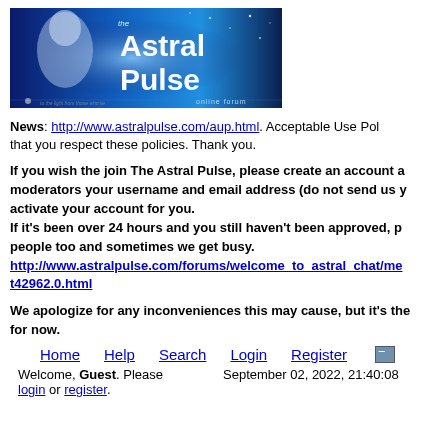[Figure (logo): The Astral Pulse online forum banner with blue space/woman imagery]
News: http://www.astralpulse.com/aup.html. Acceptable Use Policy that you respect these policies. Thank you.
If you wish the join The Astral Pulse, please create an account and send the moderators your username and email address (do not send us your password) to activate your account for you.
If it's been over 24 hours and you still haven't been approved, people too and sometimes we get busy.
http://www.astralpulse.com/forums/welcome_to_astral_chat/me t42962.0.html
We apologize for any inconveniences this may cause, but it's the for now.
Home   Help   Search   Login   Register
Welcome, Guest. Please login or register.    September 02, 2022, 21:40:08